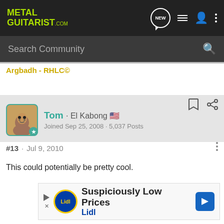METAL GUITARIST.com
Search Community
Argbadh - RHLC©
Tom · El Kabong 🇺🇸
Joined Sep 25, 2008 · 5,037 Posts
#13 · Jul 9, 2010
This could potentially be pretty cool.
[Figure (other): Lidl advertisement: Suspiciously Low Prices, Lidl]